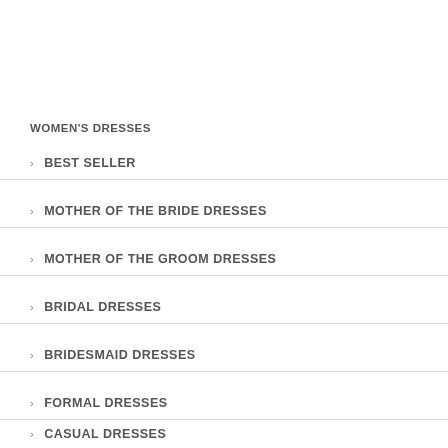WOMEN'S DRESSES
BEST SELLER
MOTHER OF THE BRIDE DRESSES
MOTHER OF THE GROOM DRESSES
BRIDAL DRESSES
BRIDESMAID DRESSES
FORMAL DRESSES
CASUAL DRESSES
HOMECOMING DRESSES